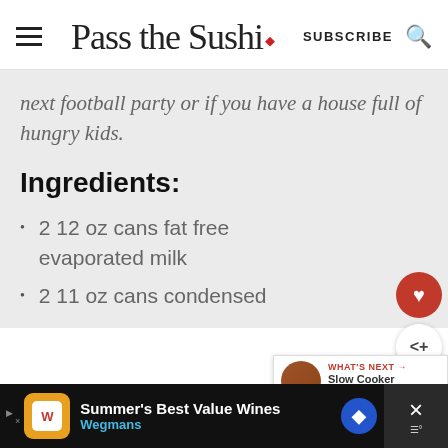Pass the Sushi — SUBSCRIBE
next football party or if you have a house full of hungry kids.
Ingredients:
2 12 oz cans fat free evaporated milk
2 11 oz cans condensed
[Figure (other): Ad banner: Summer's Best Value Wines - Wegmans]
[Figure (other): What's Next promo: Slow Cooker Sausage...]
[Figure (other): Floating action buttons: heart (save) and share]